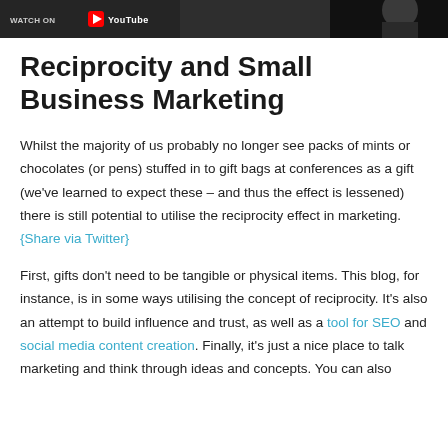[Figure (photo): Dark banner image showing YouTube branding and a partial view of a person in the top-right corner]
Reciprocity and Small Business Marketing
Whilst the majority of us probably no longer see packs of mints or chocolates (or pens) stuffed in to gift bags at conferences as a gift (we've learned to expect these – and thus the effect is lessened) there is still potential to utilise the reciprocity effect in marketing. {Share via Twitter}
First, gifts don't need to be tangible or physical items. This blog, for instance, is in some ways utilising the concept of reciprocity. It's also an attempt to build influence and trust, as well as a tool for SEO and social media content creation. Finally, it's just a nice place to talk marketing and think through ideas and concepts. You can also